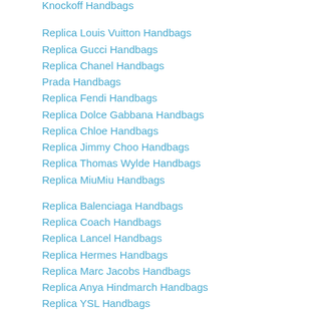Knockoff Handbags
Replica Louis Vuitton Handbags
Replica Gucci Handbags
Replica Chanel Handbags
Prada Handbags
Replica Fendi Handbags
Replica Dolce Gabbana Handbags
Replica Chloe Handbags
Replica Jimmy Choo Handbags
Replica Thomas Wylde Handbags
Replica MiuMiu Handbags
Replica Balenciaga Handbags
Replica Coach Handbags
Replica Lancel Handbags
Replica Hermes Handbags
Replica Marc Jacobs Handbags
Replica Anya Hindmarch Handbags
Replica YSL Handbags
Replica Mulberry Handbags
Replica Givenchy Handbags